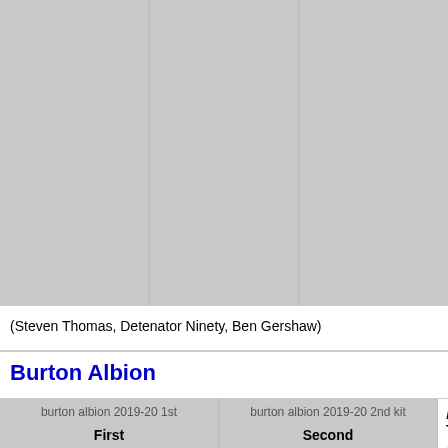[Figure (photo): Three side-by-side placeholder image boxes (grey rectangles) representing kit photos]
(Steven Thomas, Detenator Ninety, Ben Gershaw)
Burton Albion
[Figure (photo): burton albion 2019-20 1st kit placeholder image, labelled First]
[Figure (photo): burton albion 2019-20 2nd kit placeholder image, labelled Second]
Designer: Tag Sponsor: Pres Burton have h